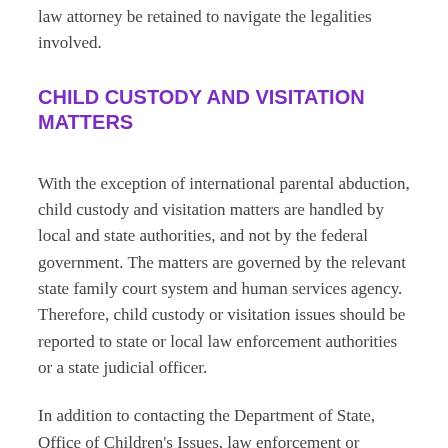law attorney be retained to navigate the legalities involved.
CHILD CUSTODY AND VISITATION MATTERS
With the exception of international parental abduction, child custody and visitation matters are handled by local and state authorities, and not by the federal government. The matters are governed by the relevant state family court system and human services agency. Therefore, child custody or visitation issues should be reported to state or local law enforcement authorities or a state judicial officer.
In addition to contacting the Department of State, Office of Children's Issues, law enforcement or